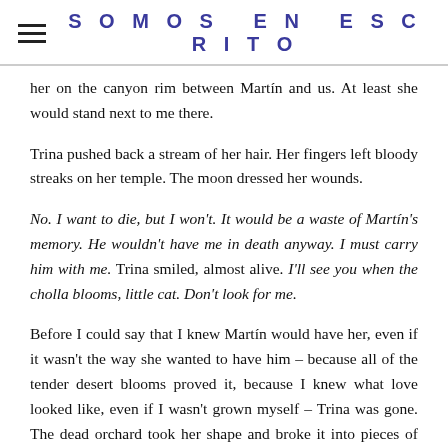SOMOS EN ESCRITO
her on the canyon rim between Martín and us. At least she would stand next to me there.
Trina pushed back a stream of her hair. Her fingers left bloody streaks on her temple. The moon dressed her wounds.
No. I want to die, but I won't. It would be a waste of Martín's memory. He wouldn't have me in death anyway. I must carry him with me. Trina smiled, almost alive. I'll see you when the cholla blooms, little cat. Don't look for me.
Before I could say that I knew Martín would have her, even if it wasn't the way she wanted to have him – because all of the tender desert blooms proved it, because I knew what love looked like, even if I wasn't grown myself – Trina was gone. The dead orchard took her shape and broke it into pieces of lonesome, scattered light. Then there was only me, Niña Negra, and the moon-kissed thistles, whispering the last secrets among themselves that I didn't